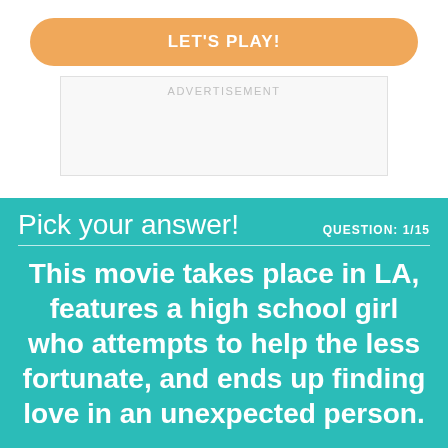LET'S PLAY!
ADVERTISEMENT
Pick your answer!
QUESTION: 1/15
This movie takes place in LA, features a high school girl who attempts to help the less fortunate, and ends up finding love in an unexpected person.